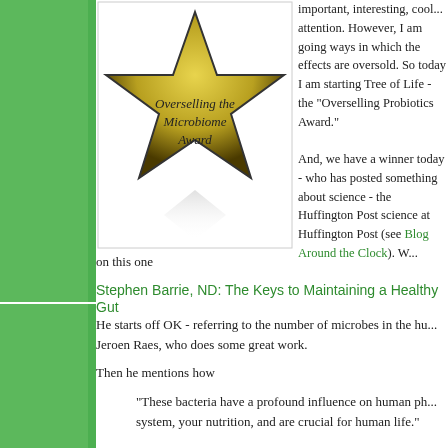[Figure (illustration): A gold/yellow star shape with text 'Overselling the Microbiome Award' written inside it, with a shadow/reflection below]
important, interesting, cool... attention. However, I am going ways in which the effects are oversold. So today I am starting Tree of Life - the "Overselling Probiotics Award."
And, we have a winner today - who has posted something about science - the Huffington Post science at Huffington Post (see Blog Around the Clock). W... on this one
Stephen Barrie, ND: The Keys to Maintaining a Healthy Gut
He starts off OK - referring to the number of microbes in the human gut... Jeroen Raes, who does some great work.
Then he mentions how
"These bacteria have a profound influence on human physiology... system, your nutrition, and are crucial for human life."
OK I can go with this -- maybe an exaggeration but still within reason...